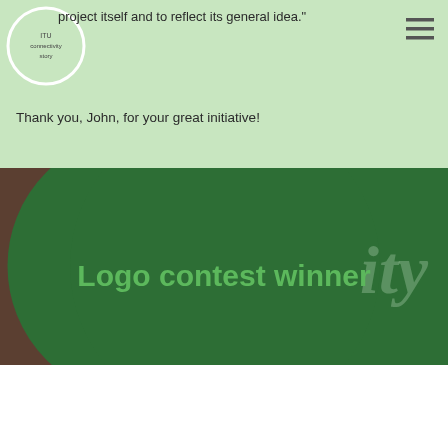project itself and to reflect its general idea."
Thank you, John, for your great initiative!
[Figure (photo): Full-width green banner image showing a large stylized 'C' logo in dark reddish-brown on a green background circle, with the text 'Logo contest winner' overlaid in bright green, and faint italic text 'ify' visible on the right edge.]
Logo contest winner